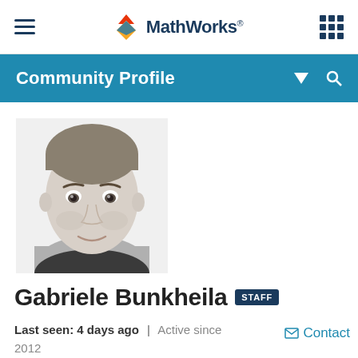MathWorks® navigation bar
Community Profile
[Figure (photo): Black and white portrait photo of Gabriele Bunkheila, a man with short hair and slight smile]
Gabriele Bunkheila STAFF
Last seen: 4 days ago | Active since 2012   Contact